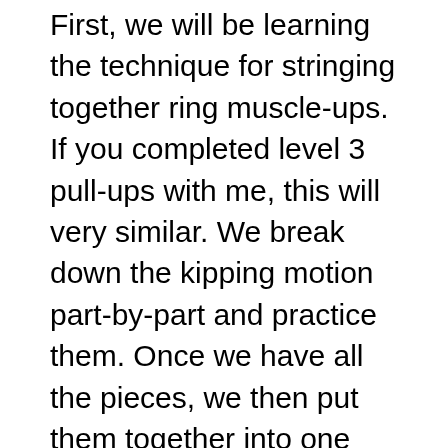First, we will be learning the technique for stringing together ring muscle-ups. If you completed level 3 pull-ups with me, this will very similar. We break down the kipping motion part-by-part and practice them. Once we have all the pieces, we then put them together into one fluid motion. The result will be the ability to string them together.
Second, with will work on capacity building. This only means specific strength needed to do more reps.
Third, we'll introduce the bar muscle-up. The